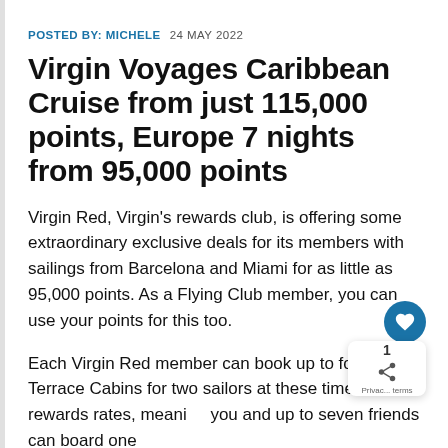POSTED BY: MICHELE   24 MAY 2022
Virgin Voyages Caribbean Cruise from just 115,000 points, Europe 7 nights from 95,000 points
Virgin Red, Virgin’s rewards club, is offering some extraordinary exclusive deals for its members with sailings from Barcelona and Miami for as little as 95,000 points. As a Flying Club member, you can use your points for this too.
Each Virgin Red member can book up to four Sea Terrace Cabins for two sailors at these time-limited rewards rates, meaning you and up to seven friends can board one